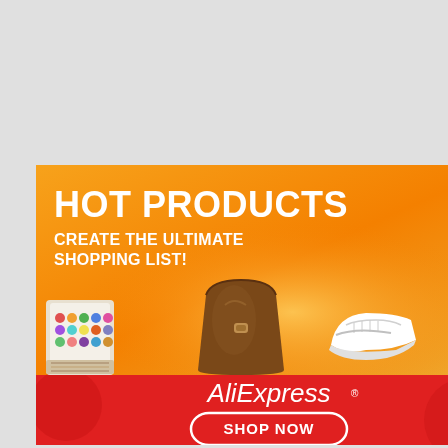[Figure (infographic): AliExpress advertisement banner with orange gradient background. Bold white text reads 'HOT PRODUCTS' then 'CREATE THE ULTIMATE SHOPPING LIST!'. Product images show a brown handbag, white sneakers, and a colorful palette/fabric. Red bottom section with AliExpress logo in white italic text and a white-bordered 'SHOP NOW' button.]